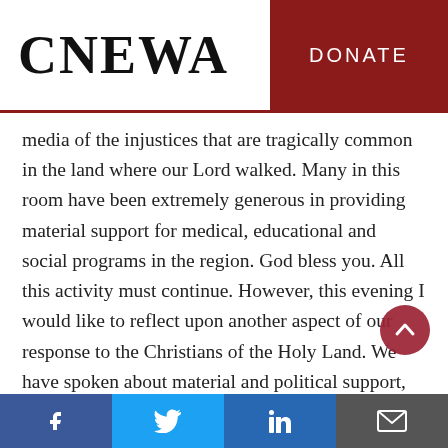CNEWA | DONATE
media of the injustices that are tragically common in the land where our Lord walked. Many in this room have been extremely generous in providing material support for medical, educational and social programs in the region. God bless you. All this activity must continue. However, this evening I would like to reflect upon another aspect of our response to the Christians of the Holy Land. We have spoken about material and political support, but what is our religious or Christian response to the needs
Facebook | Twitter | LinkedIn | Email